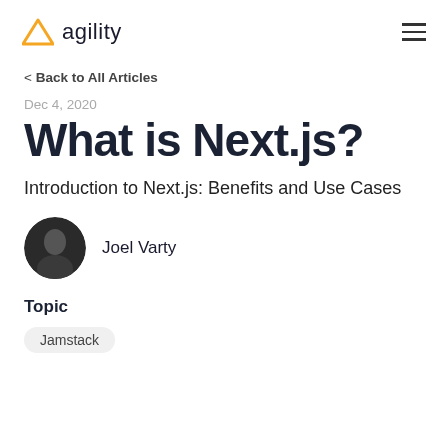agility
< Back to All Articles
Dec 4, 2020
What is Next.js?
Introduction to Next.js: Benefits and Use Cases
[Figure (photo): Circular profile photo of Joel Varty]
Joel Varty
Topic
Jamstack